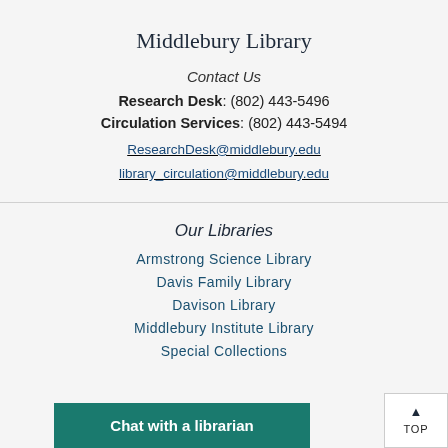Middlebury Library
Contact Us
Research Desk: (802) 443-5496
Circulation Services: (802) 443-5494
ResearchDesk@middlebury.edu
library_circulation@middlebury.edu
Our Libraries
Armstrong Science Library
Davis Family Library
Davison Library
Middlebury Institute Library
Special Collections
Chat with a librarian
TOP